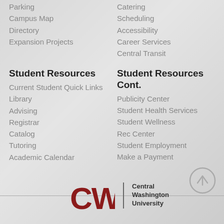Parking
Campus Map
Directory
Expansion Projects
Catering
Scheduling
Accessibility
Career Services
Central Transit
Student Resources
Current Student Quick Links
Library
Advising
Registrar
Catalog
Tutoring
Academic Calendar
Student Resources Cont.
Publicity Center
Student Health Services
Student Wellness
Rec Center
Student Employment
Make a Payment
[Figure (logo): CWU Central Washington University logo with red block letters CWU and text beside a vertical divider]